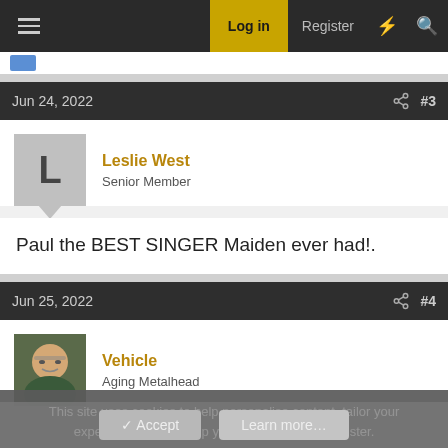Log in  Register
Jun 24, 2022  #3
Leslie West
Senior Member
Paul the BEST SINGER Maiden ever had!.
Jun 25, 2022  #4
Vehicle
Aging Metalhead
This site uses cookies to help personalise content, tailor your experience and to keep you logged in if you register.
By continuing to use this site, you are consenting to our use of cookies.
Accept   Learn more...